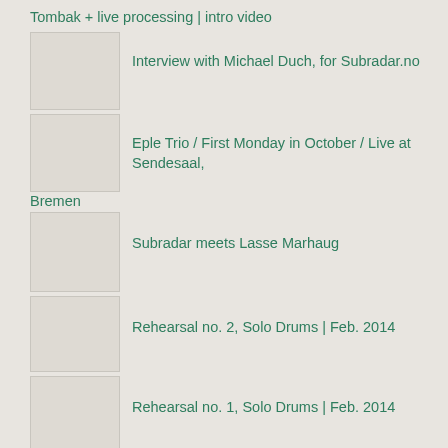Tombak + live processing | intro video
Interview with Michael Duch, for Subradar.no
Eple Trio / First Monday in October / Live at Sendesaal, Bremen
Subradar meets Lasse Marhaug
Rehearsal no. 2, Solo Drums | Feb. 2014
Rehearsal no. 1, Solo Drums | Feb. 2014
Interview with Paal Nilssen-Love, for Subradar.no
Karl Seglem Acoustic Quartet | Live in Marburg 2013 | "Northbound"
Karl Seglem Acoustic Quartet | Live in Marburg 2013 | "Inn i